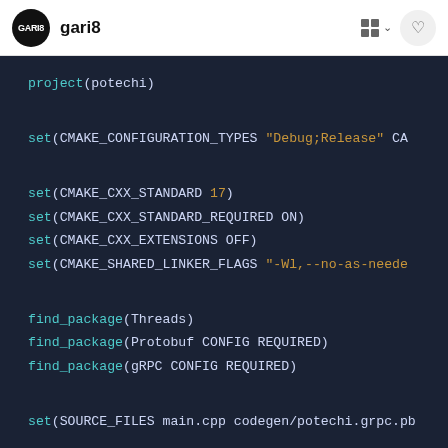gari8
project(potechi)

set(CMAKE_CONFIGURATION_TYPES "Debug;Release" CA

set(CMAKE_CXX_STANDARD 17)
set(CMAKE_CXX_STANDARD_REQUIRED ON)
set(CMAKE_CXX_EXTENSIONS OFF)
set(CMAKE_SHARED_LINKER_FLAGS "-Wl,--no-as-needed

find_package(Threads)
find_package(Protobuf CONFIG REQUIRED)
find_package(gRPC CONFIG REQUIRED)

set(SOURCE_FILES main.cpp codegen/potechi.grpc.pb